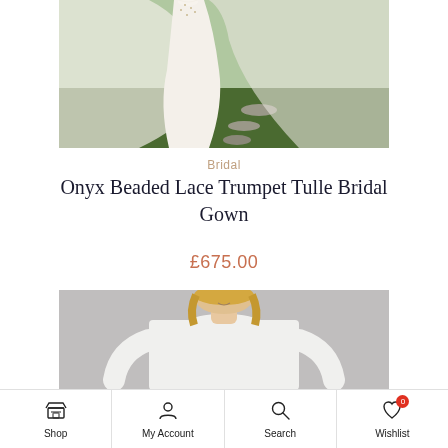[Figure (photo): Top portion of a bridal gown with tulle skirt spreading against a grassy outdoor background]
Bridal
Onyx Beaded Lace Trumpet Tulle Bridal Gown
£675.00
[Figure (photo): Upper body of a woman wearing a white long-sleeve fitted dress, smiling, against a grey background]
Shop | My Account | Search | Wishlist